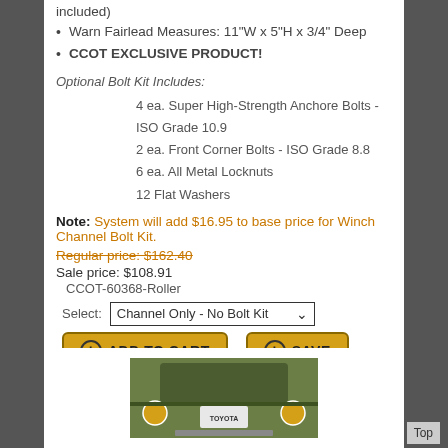included)
Warn Fairlead Measures: 11"W x 5"H x 3/4" Deep
CCOT EXCLUSIVE PRODUCT!
Optional Bolt Kit Includes:
4 ea. Super High-Strength Anchore Bolts - ISO Grade 10.9
2 ea. Front Corner Bolts - ISO Grade 8.8
6 ea. All Metal Locknuts
12 Flat Washers
Note: System will add $16.95 to base price for Winch Channel Bolt Kit.
Regular price: $162.40
Sale price: $108.91
CCOT-60368-Roller
Select: Channel Only - No Bolt Kit
[Figure (screenshot): Front view of a green Toyota Land Cruiser with winch channel mount visible]
Top